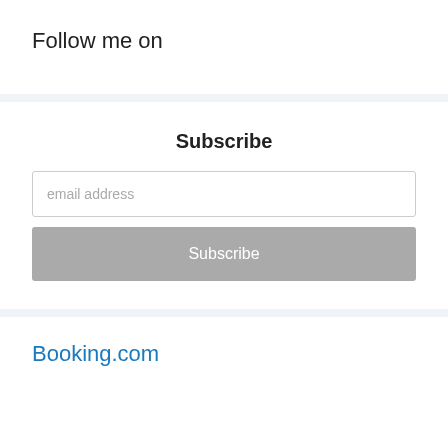Follow me on
Subscribe
email address
Subscribe
Booking.com